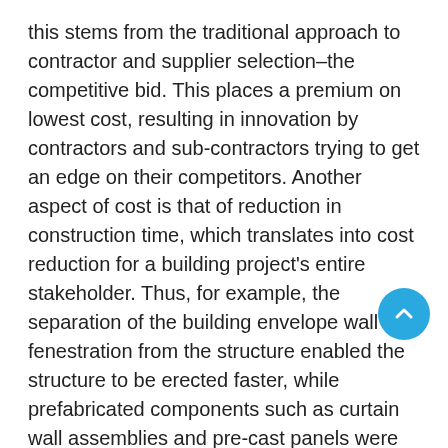this stems from the traditional approach to contractor and supplier selection–the competitive bid. This places a premium on lowest cost, resulting in innovation by contractors and sub-contractors trying to get an edge on their competitors. Another aspect of cost is that of reduction in construction time, which translates into cost reduction for a building project's entire stakeholder. Thus, for example, the separation of the building envelope wall and fenestration from the structure enabled the structure to be erected faster, while prefabricated components such as curtain wall assemblies and pre-cast panels were fabricated off-site.
The effort to reduce on-site labor through componentization also originated in the effort to reduce costs and construction time. It is noteworthy that the building industry was able to achieve extraordinary reductions of construction time using traditional materials when labor costs were low. For example, the Empire State Building in